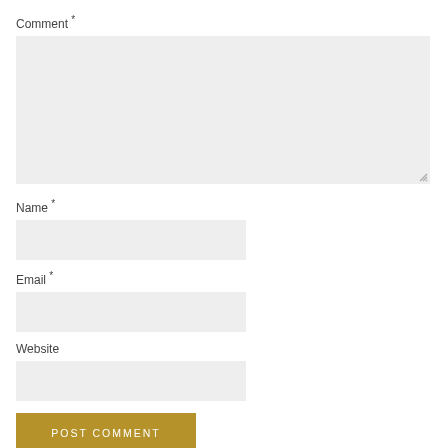Comment *
[Figure (screenshot): Large empty comment textarea with light gray background and resize handle in the bottom-right corner]
Name *
[Figure (screenshot): Name input field with light gray background]
Email *
[Figure (screenshot): Email input field with light gray background]
Website
[Figure (screenshot): Website input field with light gray background]
POST COMMENT